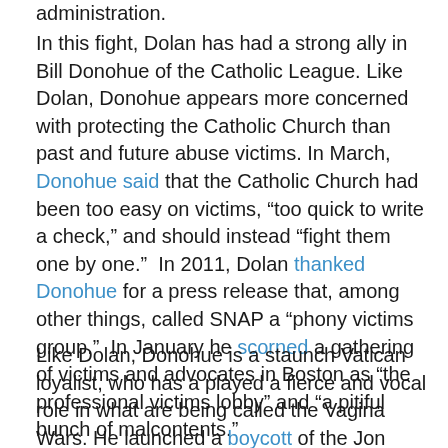administration.
In this fight, Dolan has had a strong ally in Bill Donohue of the Catholic League. Like Dolan, Donohue appears more concerned with protecting the Catholic Church than past and future abuse victims. In March, Donohue said that the Catholic Church had been too easy on victims, “too quick to write a check,” and should instead “fight them one by one.”  In 2011, Dolan thanked Donohue for a press release that, among other things, called SNAP a “phony victims group.”  In January he scorned a gathering of victims and advocates in Boston as “the professional victims lobby” and “a pitiful bunch of malcontents.”
Like Dolan, Donohue is a staunch Vatican loyalist, who has a played a fierce and vocal role in what are being called the Vagina Wars. He launched a boycott of the Jon Stewart Show after Stewart displayed an image of a